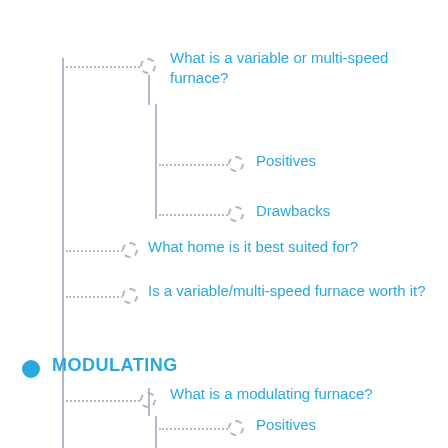What is a variable or multi-speed furnace?
Positives
Drawbacks
What home is it best suited for?
Is a variable/multi-speed furnace worth it?
MODULATING
What is a modulating furnace?
Positives
Drawbacks